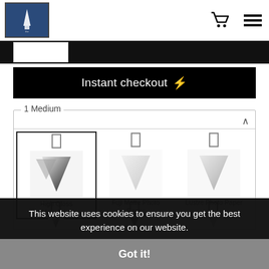The Crossroads Gallery - navigation header with cart and menu icons
Instant checkout ⚡
1 Medium
[Figure (illustration): High Gloss MetalPrint thumbnail - reflective metallic surface with dark gradient triangle shape]
High Gloss MetalPrint
[Figure (illustration): Fuji Matte Photo Paper thumbnail - light matte paper with pale triangle shape]
Fuji Matte Photo Paper
[Figure (illustration): Lustre Photo Paper thumbnail - semi-gloss paper with grey triangle shape]
Lustre Photo Paper
This website uses cookies to ensure you get the best experience on our website.
Got it!